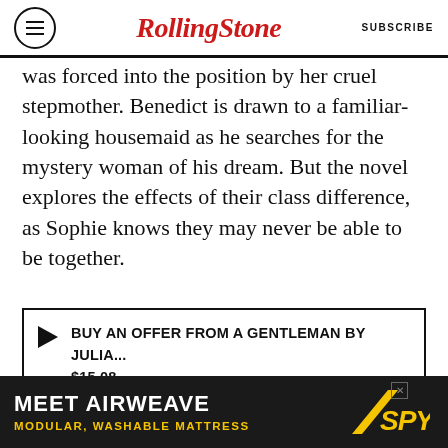Rolling Stone | SUBSCRIBE
was forced into the position by her cruel stepmother. Benedict is drawn to a familiar-looking housemaid as he searches for the mystery woman of his dream. But the novel explores the effects of their class difference, as Sophie knows they may never be able to be together.
BUY AN OFFER FROM A GENTLEMAN BY JULIA... $15.08
4. Romancing Mister Bridgerton
[Figure (photo): Partial photo visible at bottom of page]
[Figure (infographic): MEET AIRWEAVE advertisement banner — MODULAR, WASHABLE MATTRESS — SPY logo]